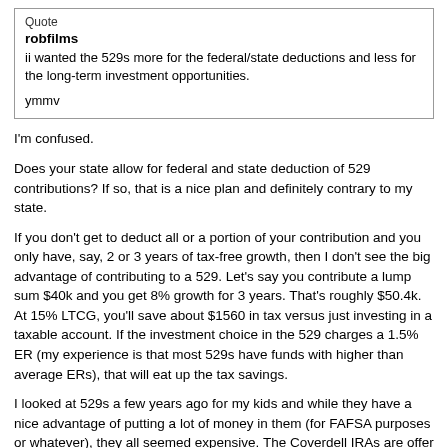Quote
robfilms
ii wanted the 529s more for the federal/state deductions and less for the long-term investment opportunities.

ymmv
I'm confused.
Does your state allow for federal and state deduction of 529 contributions? If so, that is a nice plan and definitely contrary to my state.
If you don't get to deduct all or a portion of your contribution and you only have, say, 2 or 3 years of tax-free growth, then I don't see the big advantage of contributing to a 529. Let's say you contribute a lump sum $40k and you get 8% growth for 3 years. That's roughly $50.4k. At 15% LTCG, you'll save about $1560 in tax versus just investing in a taxable account. If the investment choice in the 529 charges a 1.5% ER (my experience is that most 529s have funds with higher than average ERs), that will eat up the tax savings.
I looked at 529s a few years ago for my kids and while they have a nice advantage of putting a lot of money in them (for FAFSA purposes or whatever), they all seemed expensive. The Coverdell IRAs are offer much better investment choices but are limited to $2k/yr. I prefer the flexibility and low (or no) cost of taxable accounts that I can tax-loss harvest in. However, if you can deduct your contributions (even at just the state) level and then get it tax-free on